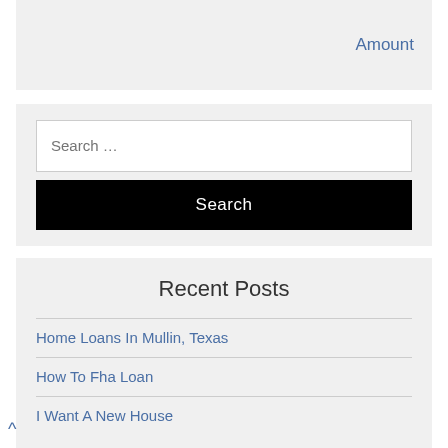Amount
Search …
Search
Recent Posts
Home Loans In Mullin, Texas
How To Fha Loan
I Want A New House